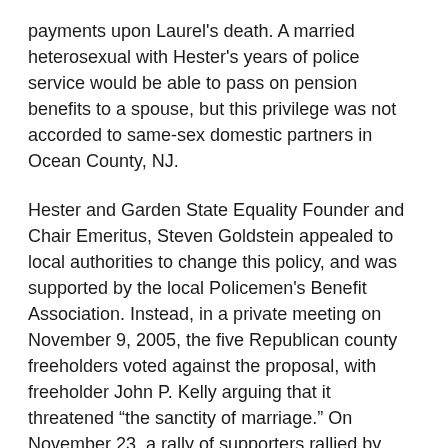payments upon Laurel's death. A married heterosexual with Hester's years of police service would be able to pass on pension benefits to a spouse, but this privilege was not accorded to same-sex domestic partners in Ocean County, NJ.
Hester and Garden State Equality Founder and Chair Emeritus, Steven Goldstein appealed to local authorities to change this policy, and was supported by the local Policemen's Benefit Association. Instead, in a private meeting on November 9, 2005, the five Republican county freeholders voted against the proposal, with freeholder John P. Kelly arguing that it threatened “the sanctity of marriage.” On November 23, a rally of supporters rallied by Steven Goldstein gathered to protest the county’s inaction.
On January 18, 2006, an impassioned videotaped appeal by a weakening Hester from her hospital bed was shown at a meeting of the freeholders, who then met with county